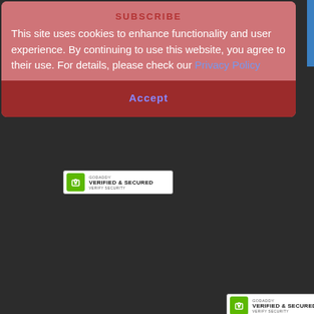This site uses cookies to enhance functionality and user experience. By continuing to use this website, you agree to their use. For details, please check our Privacy Policy
Accept
[Figure (logo): GoDaddy Verified & Secured seal badge - top left area]
[Figure (logo): GoDaddy Verified & Secured seal badge - bottom right area]